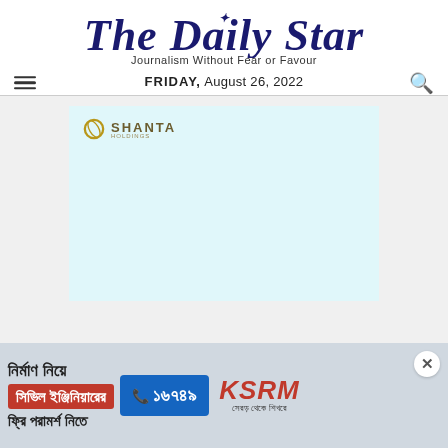The Daily Star — Journalism Without Fear or Favour — FRIDAY, August 26, 2022
[Figure (advertisement): Shanta Holdings advertisement — light blue background with Shanta logo in upper left]
[Figure (advertisement): Bengali text ad for civil engineering consultation, phone number 16749, KSRM brand with close button]